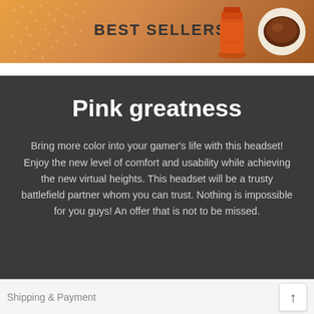[Figure (screenshot): Website banner with orange gradient background showing 'BEST SELLERS' text and product images (orange bottle/container and chocolate).]
Pink greatness
Bring more color into your gamer's life with this headset! Enjoy the new level of comfort and usability while achieving the new virtual heights. This headset will be a trusty battlefield partner whom you can trust. Nothing is impossible for you guys! An offer that is not to be missed.
Shipping & Payment